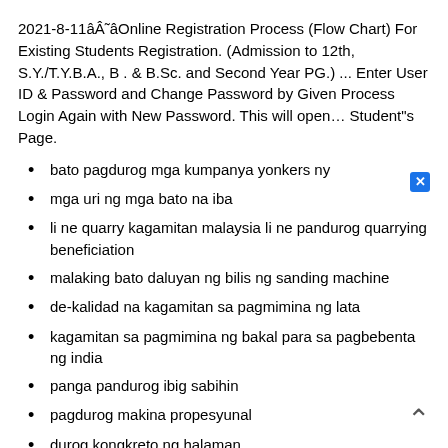2021-8-11â Â˜âOnline Registration Process (Flow Chart) For Existing Students Registration. (Admission to 12th, S.Y./T.Y.B.A., B . & B.Sc. and Second Year PG.) ... Enter User ID & Password and Change Password by Given Process Login Again with New Password. This will open… Student"s Page.
bato pagdurog mga kumpanya yonkers ny
mga uri ng mga bato na iba
li ne quarry kagamitan malaysia li ne pandurog quarrying beneficiation
malaking bato daluyan ng bilis ng sanding machine
de-kalidad na kagamitan sa pagmimina ng lata
kagamitan sa pagmimina ng bakal para sa pagbebenta ng india
panga pandurog ibig sabihin
pagdurog makina propesyunal
durog kongkreto ng halaman
listahan ng bato pandurog halaman sa andhra